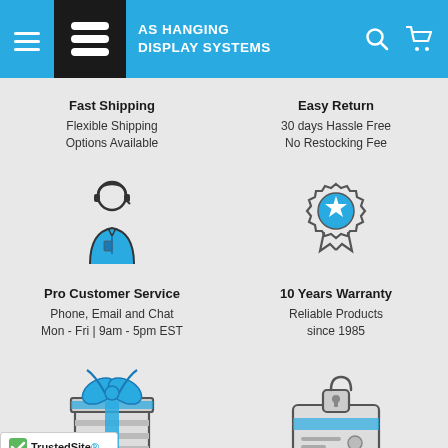[Figure (logo): AS Hanging Display Systems logo and header navigation with hamburger menu, logo mark, brand name, search and cart icons]
Fast Shipping
Flexible Shipping Options Available
Easy Return
30 days Hassle Free
No Restocking Fee
[Figure (illustration): Customer service representative icon with headset, wearing blue jacket]
[Figure (illustration): Award/warranty badge icon with star in blue circle and ribbon]
Pro Customer Service
Phone, Email and Chat
Mon - Fri | 9am - 5pm EST
10 Years Warranty
Reliable Products
since 1985
[Figure (illustration): Gift box icon with blue bow and ribbon]
[Figure (illustration): Credit card with lock icon]
rd Program
Selling Online since 1994
[Figure (logo): TrustedSite Certified Secure badge with green checkmark]